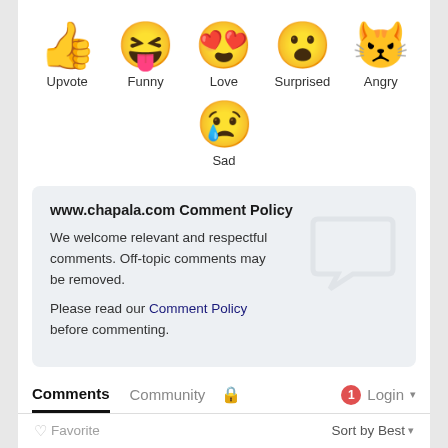[Figure (infographic): Row of five emoji icons with labels: thumbs up (Upvote), laughing tongue-out face (Funny), heart-eyes face (Love), surprised face (Surprised), angry crying face (Angry)]
[Figure (infographic): Single emoji: sad face with tear drop (Sad)]
www.chapala.com Comment Policy
We welcome relevant and respectful comments. Off-topic comments may be removed.
Please read our Comment Policy before commenting.
Comments  Community  🔒  1  Login ▾
♡ Favorite   Sort by Best ▾